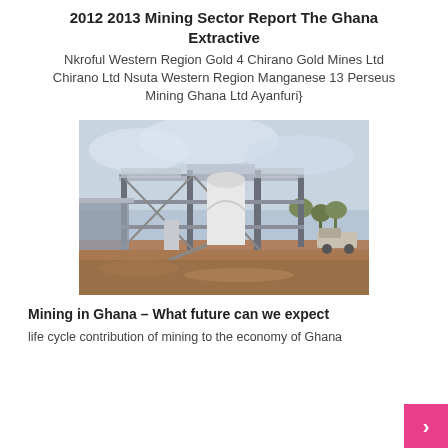2012 2013 Mining Sector Report The Ghana Extractive
Nkroful Western Region Gold 4 Chirano Gold Mines Ltd Chirano Ltd Nsuta Western Region Manganese 13 Perseus Mining Ghana Ltd Ayanfuri}
[Figure (photo): Mining facility with steel frame structure, industrial equipment, and construction site in Ghana]
Mining in Ghana – What future can we expect
life cycle contribution of mining to the economy of Ghana